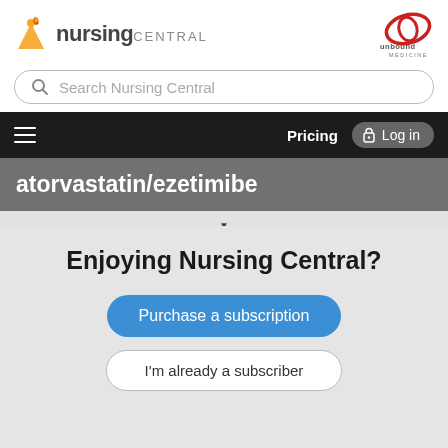[Figure (logo): Nursing Central logo with orange person/flame icon and 'nursing CENTRAL' text]
[Figure (logo): Unbound Medicine logo — red ellipse with 'O' and 'unbound MEDICINE' text]
Search Nursing Central
Pricing  Log in
atorvastatin/ezetimibe
Davis's Drug Guide
Enjoying Nursing Central?
Purchase a subscription
I'm already a subscriber